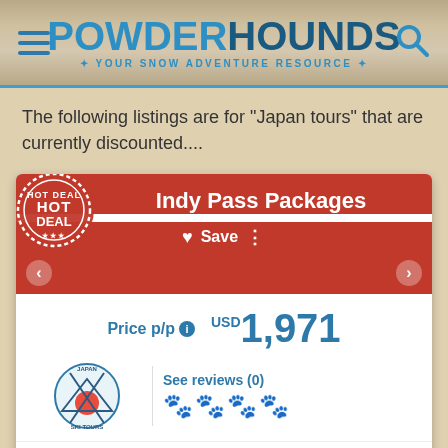POWDERHOUNDS - YOUR SNOW ADVENTURE RESOURCE
The following listings are for "Japan tours" that are currently discounted....
Indy Pass Packages
Save
Price p/p  USD 1,971
See reviews (0)
SELF-GUIDED SAFARI - NORTHERN HONSHU 8/10 Days | 7/9 Nights | 4/5 Ski Areas
Early bird 20% discount off listed prices for Indy Pass holders, until Aug 31